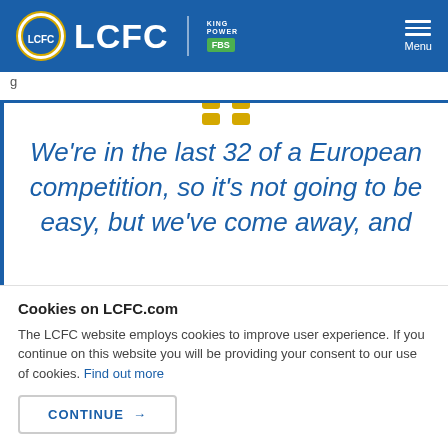LCFC | KING POWER FBS — Menu
g
We're in the last 32 of a European competition, so it's not going to be easy, but we've come away and
Cookies on LCFC.com
The LCFC website employs cookies to improve user experience. If you continue on this website you will be providing your consent to our use of cookies. Find out more
CONTINUE →